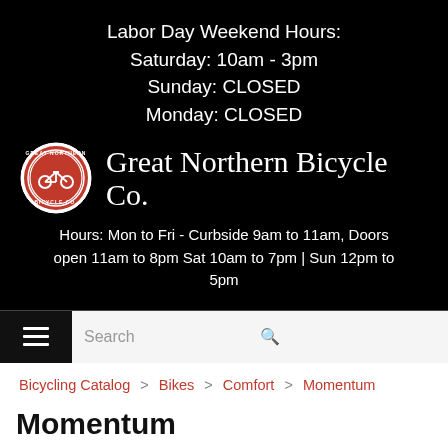Labor Day Weekend Hours:
Saturday: 10am - 3pm
Sunday: CLOSED
Monday: CLOSED
[Figure (logo): Great Northern Bicycle Co. logo: circular emblem with red background and bicycle, next to store name in serif font]
Hours: Mon to Fri - Curbside 9am to 11am, Doors open 11am to 8pm Sat 10am to 7pm | Sun 12pm to 5pm
Search
Bicycling Catalog > Bikes > Comfort > Momentum
Momentum
iNeed Street Mid-Step